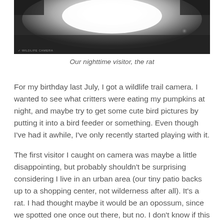[Figure (photo): Night vision / infrared wildlife trail camera image showing a bright central flash glare against a dark background, with faint light reflections visible on the sides. Small watermark text visible in lower left corner.]
Our nighttime visitor, the rat
For my birthday last July, I got a wildlife trail camera. I wanted to see what critters were eating my pumpkins at night, and maybe try to get some cute bird pictures by putting it into a bird feeder or something. Even though I've had it awhile, I've only recently started playing with it.
The first visitor I caught on camera was maybe a little disappointing, but probably shouldn't be surprising considering I live in an urban area (our tiny patio backs up to a shopping center, not wilderness after all). It's a rat. I had thought maybe it would be an opossum, since we spotted one once out there, but no. I don't know if this is what was eating my pumpkins last year, or my tomato